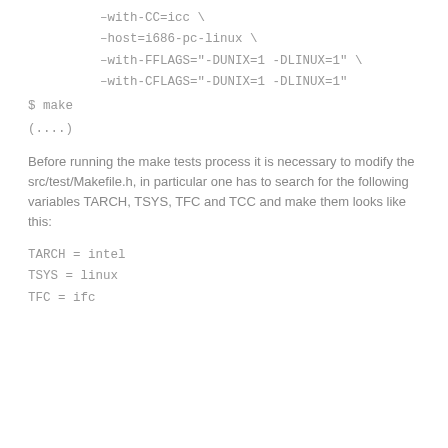--with-CC=icc \
--host=i686-pc-linux \
--with-FFLAGS="-DUNIX=1 -DLINUX=1" \
--with-CFLAGS="-DUNIX=1 -DLINUX=1"
$ make
(....)
Before running the make tests process it is necessary to modify the src/test/Makefile.h, in particular one has to search for the following variables TARCH, TSYS, TFC and TCC and make them looks like this:
TARCH = intel
TSYS = linux
TFC = ifc